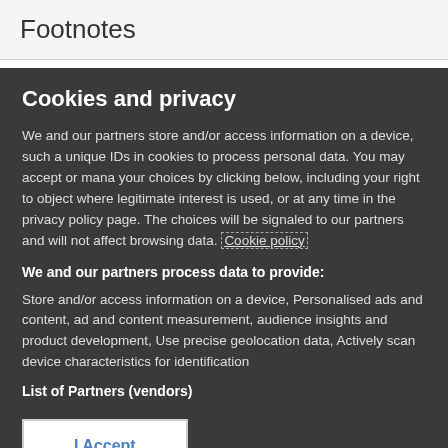Footnotes
Cookies and privacy
We and our partners store and/or access information on a device, such a unique IDs in cookies to process personal data. You may accept or mana your choices by clicking below, including your right to object where legitimate interest is used, or at any time in the privacy policy page. The choices will be signaled to our partners and will not affect browsing data. Cookie policy
We and our partners process data to provide:
Store and/or access information on a device, Personalised ads and content, ad and content measurement, audience insights and product development, Use precise geolocation data, Actively scan device characteristics for identification
List of Partners (vendors)
I Accept